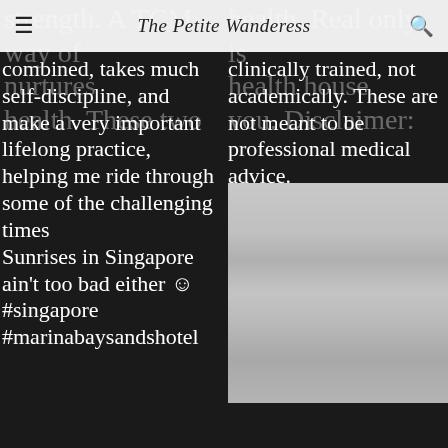The Petite Wanderess
combined, takes much self-discipline, and make a very important lifelong practice, helping me ride through some of the challenging times
clinically trained, not academically. These are not meant to be professional medical advice.
[Figure (photo): Partially loaded image with alt text: Sunrises in Singapore ain't too bad either ☺ #singapore #marinabaysandshotel]
[Figure (photo): Partially loaded gray gradient image placeholder on right side]